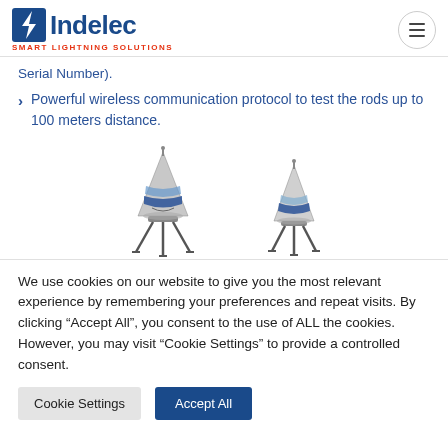Indelec — SMART LIGHTNING SOLUTIONS
Serial Number).
Powerful wireless communication protocol to test the rods up to 100 meters distance.
[Figure (illustration): Two 3D rendered lightning rod / air terminal devices side by side — cone-shaped metallic structures with blue and grey banding, on tripod bases.]
We use cookies on our website to give you the most relevant experience by remembering your preferences and repeat visits. By clicking "Accept All", you consent to the use of ALL the cookies. However, you may visit "Cookie Settings" to provide a controlled consent.